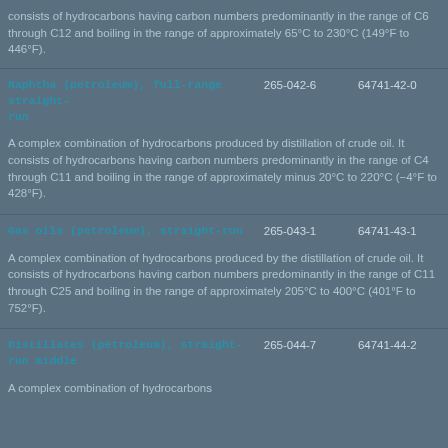consists of hydrocarbons having carbon numbers predominantly in the range of C6 through C12 and boiling in the range of approximately 65°C to 230°C (149°F to 446°F).
| Name | EC No. | CAS No. |
| --- | --- | --- |
| Naphtha (petroleum), full-range straight-run | 265-042-6 | 64741-42-0 |
| A complex combination of hydrocarbons produced by distillation of crude oil. It consists of hydrocarbons having carbon numbers predominantly in the range of C4 through C11 and boiling in the range of approximately minus 20°C to 220°C (−4°F to 428°F). |  |  |
| Gas oils (petroleum), straight-run | 265-043-1 | 64741-43-1 |
| A complex combination of hydrocarbons produced by the distillation of crude oil. It consists of hydrocarbons having carbon numbers predominantly in the range of C11 through C25 and boiling in the range of approximately 205°C to 400°C (401°F to 752°F). |  |  |
| Distillates (petroleum), straight-run middle | 265-044-7 | 64741-44-2 |
| A complex combination of hydrocarbons |  |  |